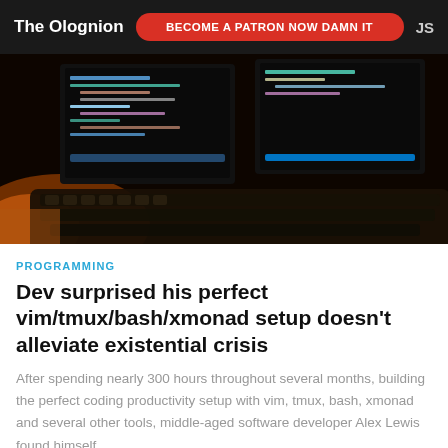The Olognion  BECOME A PATRON NOW DAMN IT  JS
[Figure (photo): Dark photo of a mechanical keyboard in the foreground with two monitors displaying colorful code in the background, lit by orange ambient lighting]
PROGRAMMING
Dev surprised his perfect vim/tmux/bash/xmonad setup doesn't alleviate existential crisis
After spending nearly 300 hours throughout several months, building the perfect coding productivity setup with vim, tmux, bash, xmonad and several other tools, middle-aged software developer Alex Lewis found himself